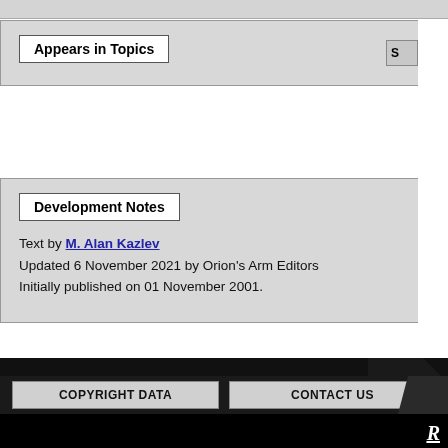Appears in Topics
Development Notes
Text by M. Alan Kazlev
Updated 6 November 2021 by Orion's Arm Editors
Initially published on 01 November 2001.
COPYRIGHT DATA | CONTACT US